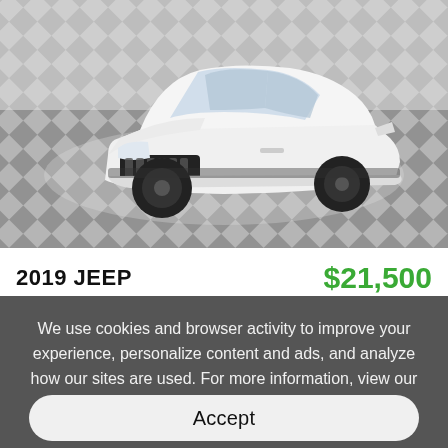[Figure (photo): White 2019 Jeep Cherokee SUV parked on a checkered gray and black diamond-pattern floor, photographed from a front three-quarter angle.]
2019 JEEP
$21,500
We use cookies and browser activity to improve your experience, personalize content and ads, and analyze how our sites are used. For more information, view our Privacy Policy.
Accept